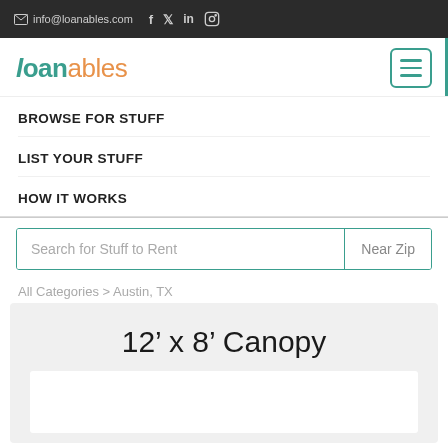info@loanables.com
loanables
BROWSE FOR STUFF
LIST YOUR STUFF
HOW IT WORKS
Search for Stuff to Rent  Near Zip
All Categories > Austin, TX
12' x 8' Canopy